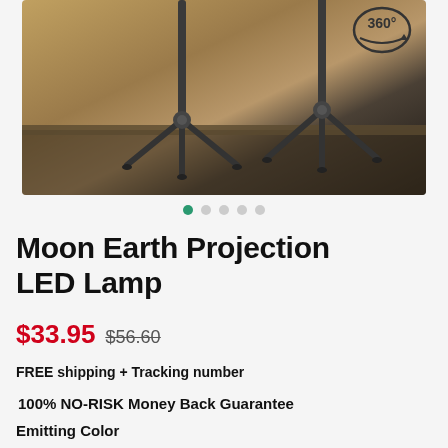[Figure (photo): Product photo of Moon Earth Projection LED Lamp showing two lamp bases with 360 badge in top right corner]
Moon Earth Projection LED Lamp
$33.95 $56.60
FREE shipping + Tracking number
100% NO-RISK Money Back Guarantee
Emitting Color